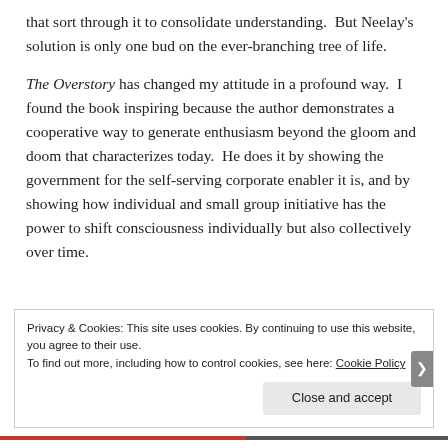that sort through it to consolidate understanding.  But Neelay's solution is only one bud on the ever-branching tree of life.
The Overstory has changed my attitude in a profound way.  I found the book inspiring because the author demonstrates a cooperative way to generate enthusiasm beyond the gloom and doom that characterizes today.  He does it by showing the government for the self-serving corporate enabler it is, and by showing how individual and small group initiative has the power to shift consciousness individually but also collectively over time.
Privacy & Cookies: This site uses cookies. By continuing to use this website, you agree to their use.
To find out more, including how to control cookies, see here: Cookie Policy
Close and accept